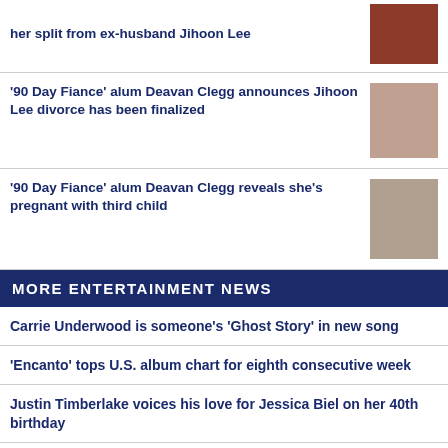her split from ex-husband Jihoon Lee
'90 Day Fiance' alum Deavan Clegg announces Jihoon Lee divorce has been finalized
'90 Day Fiance' alum Deavan Clegg reveals she's pregnant with third child
MORE ENTERTAINMENT NEWS
Carrie Underwood is someone's 'Ghost Story' in new song
'Encanto' tops U.S. album chart for eighth consecutive week
Justin Timberlake voices his love for Jessica Biel on her 40th birthday
'Young Royals' begins filming Season 2